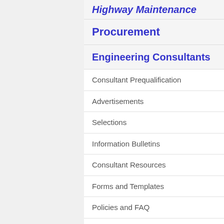Highway Maintenance
Procurement
Engineering Consultants
Consultant Prequalification
Advertisements
Selections
Information Bulletins
Consultant Resources
Forms and Templates
Policies and FAQ
Disadvantaged Business Enterprise (DBE) Program
Local Public Agency Consultant Procurement
Overview
How to Apply
Documents